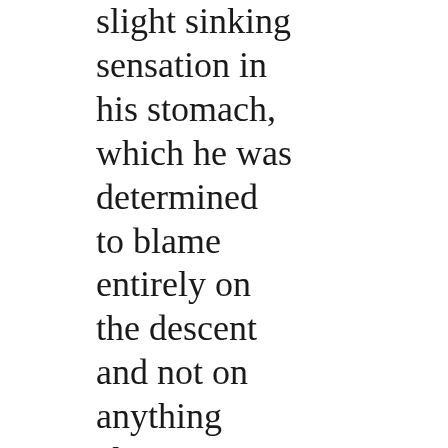slight sinking sensation in his stomach, which he was determined to blame entirely on the descent and not on anything else. The elevator opened onto an empty corridor that